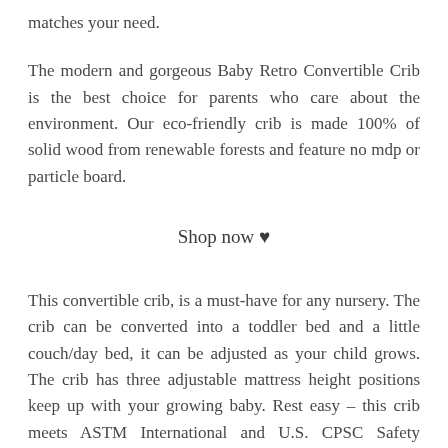matches your need.
The modern and gorgeous Baby Retro Convertible Crib is the best choice for parents who care about the environment. Our eco-friendly crib is made 100% of solid wood from renewable forests and feature no mdp or particle board.
Shop now ♥
This convertible crib, is a must-have for any nursery. The crib can be converted into a toddler bed and a little couch/day bed, it can be adjusted as your child grows. The crib has three adjustable mattress height positions keep up with your growing baby. Rest easy – this crib meets ASTM International and U.S. CPSC Safety Standards for all US and Canadian regulations.